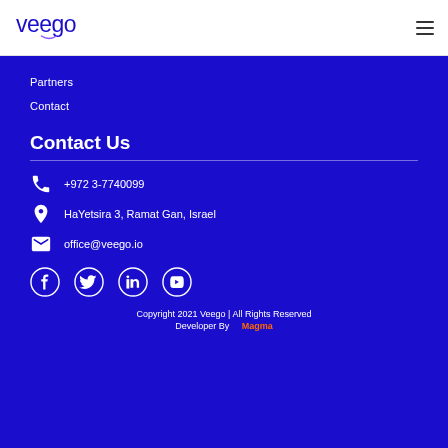[Figure (logo): Veego logo in dark blue/navy with stylized lowercase text and small arc underline]
Partners
Contact
Contact Us
+972 3-7740099
HaYetsira 3, Ramat Gan, Israel
office@veego.io
[Figure (illustration): Social media icons: Facebook, Twitter, LinkedIn, YouTube]
Copyright 2021 Veego | All Rights Reserved
Developer By    Magma